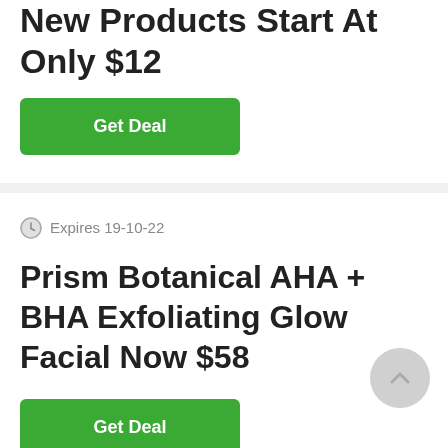New Products Start At Only $12
Get Deal
Expires 19-10-22
Prism Botanical AHA + BHA Exfoliating Glow Facial Now $58
Get Deal
Expires 20-10-22